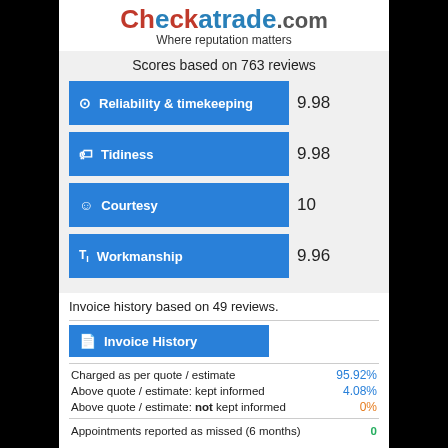Checkatrade.com – Where reputation matters
Scores based on 763 reviews
[Figure (bar-chart): Scores based on 763 reviews]
Invoice history based on 49 reviews.
[Figure (bar-chart): Invoice History]
Charged as per quote / estimate    95.92%
Above quote / estimate: kept informed    4.08%
Above quote / estimate: not kept informed    0%
Appointments reported as missed (6 months)    0